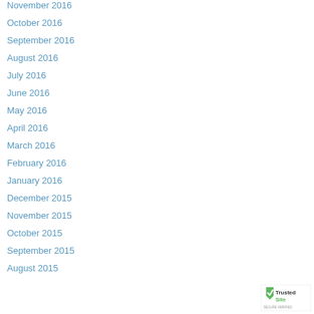November 2016
October 2016
September 2016
August 2016
July 2016
June 2016
May 2016
April 2016
March 2016
February 2016
January 2016
December 2015
November 2015
October 2015
September 2015
August 2015 (partial)
[Figure (logo): TrustedSite security badge in bottom right corner]